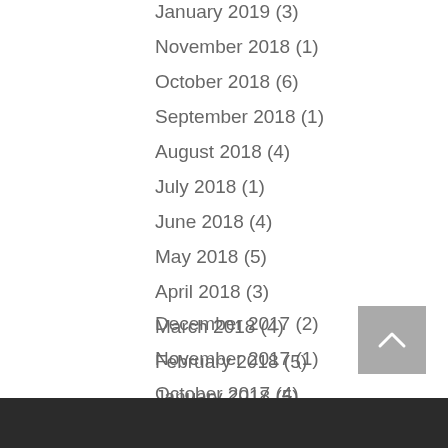January 2019 (3)
November 2018 (1)
October 2018 (6)
September 2018 (1)
August 2018 (4)
July 2018 (1)
June 2018 (4)
May 2018 (5)
April 2018 (3)
March 2018 (4)
February 2018 (5)
January 2018 (5)
December 2017 (2)
November 2017 (1)
October 2017 (4)
September 2017 (2)
August 2017 (1)
July 2017 (7)